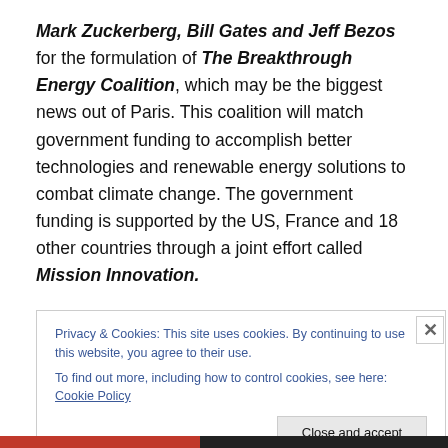Mark Zuckerberg, Bill Gates and Jeff Bezos for the formulation of The Breakthrough Energy Coalition, which may be the biggest news out of Paris. This coalition will match government funding to accomplish better technologies and renewable energy solutions to combat climate change. The government funding is supported by the US, France and 18 other countries through a joint effort called Mission Innovation.
Privacy & Cookies: This site uses cookies. By continuing to use this website, you agree to their use. To find out more, including how to control cookies, see here: Cookie Policy